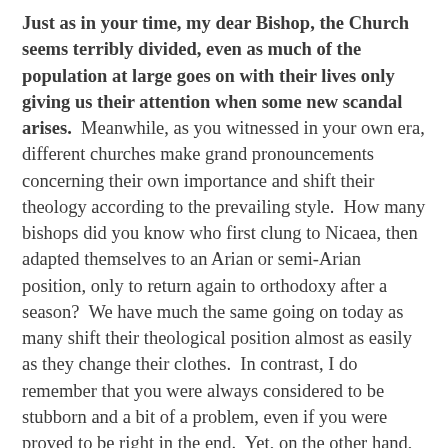Just as in your time, my dear Bishop, the Church seems terribly divided, even as much of the population at large goes on with their lives only giving us their attention when some new scandal arises.  Meanwhile, as you witnessed in your own era, different churches make grand pronouncements concerning their own importance and shift their theology according to the prevailing style.  How many bishops did you know who first clung to Nicaea, then adapted themselves to an Arian or semi-Arian position, only to return again to orthodoxy after a season?  We have much the same going on today as many shift their theological position almost as easily as they change their clothes.  In contrast, I do remember that you were always considered to be stubborn and a bit of a problem, even if you were proved to be right in the end.  Yet, on the other hand, you were also one of the most prolific and adventurous theologians of your day, always taking us deeper into the mysteries of our faith.  Perhaps that is what you wanted us to learn, that being grounded is essential before one launches out on theological or liturgical